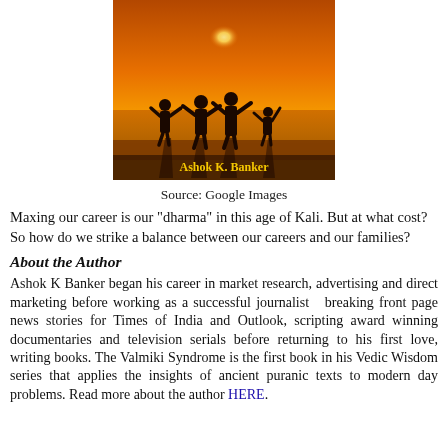[Figure (photo): Book cover image showing silhouettes of a family (two adults and two children) on a beach at sunset with golden orange sky. Text 'Ashok K. Banker' in yellow at the bottom of the image.]
Source: Google Images
Maxing our career is our "dharma" in this age of Kali. But at what cost? So how do we strike a balance between our careers and our families?
About the Author
Ashok K Banker began his career in market research, advertising and direct marketing before working as a successful journalist  breaking front page news stories for Times of India and Outlook, scripting award winning documentaries and television serials before returning to his first love, writing books. The Valmiki Syndrome is the first book in his Vedic Wisdom series that applies the insights of ancient puranic texts to modern day problems. Read more about the author HERE.